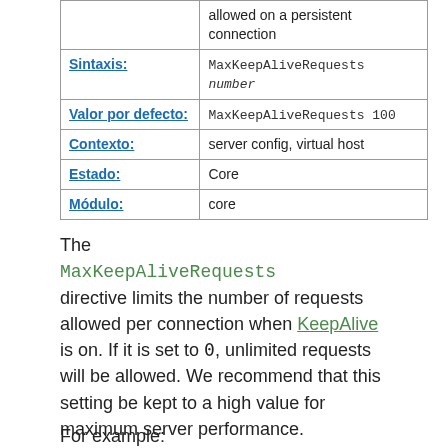|  |  |
| --- | --- |
|  | allowed on a persistent connection |
| Sintaxis: | MaxKeepAliveRequests number |
| Valor por defecto: | MaxKeepAliveRequests 100 |
| Contexto: | server config, virtual host |
| Estado: | Core |
| Módulo: | core |
The MaxKeepAliveRequests directive limits the number of requests allowed per connection when KeepAlive is on. If it is set to 0, unlimited requests will be allowed. We recommend that this setting be kept to a high value for maximum server performance.
For example: